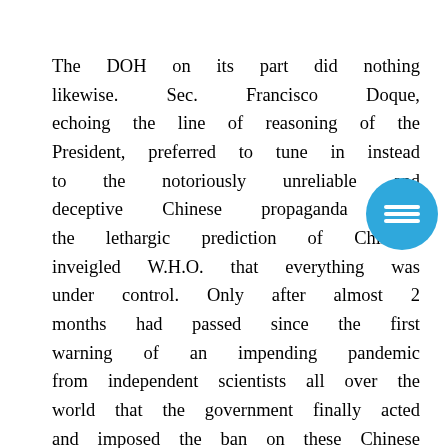The DOH on its part did nothing likewise. Sec. Francisco Doque, echoing the line of reasoning of the President, preferred to tune in instead to the notoriously unreliable and deceptive Chinese propaganda over the lethargic prediction of Chinese-inveigled W.H.O. that everything was under control. Only after almost 2 months had passed since the first warning of an impending pandemic from independent scientists all over the world that the government finally acted and imposed the ban on these Chinese tourists from Mainland. By that time, half a million of them had already been in the country. It is noteworthy that even
[Figure (other): Blue circular menu/hamburger button icon with three horizontal white lines]